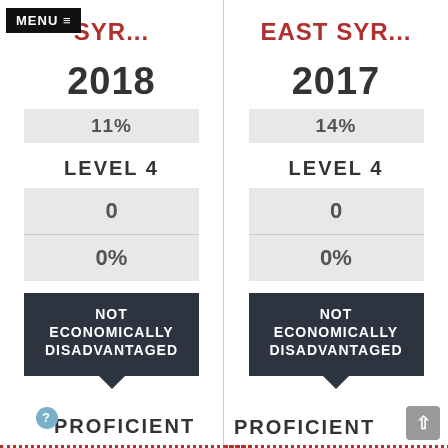MENU ≡ SYR... (2018, left column)
EAST SYR... (2017, right column)
11%
14%
LEVEL 4
LEVEL 4
|  |
| --- |
| 0 |
| 0% |
|  |
| --- |
| 0 |
| 0% |
NOT ECONOMICALLY DISADVANTAGED
NOT ECONOMICALLY DISADVANTAGED
PROFICIENT
PROFICIENT